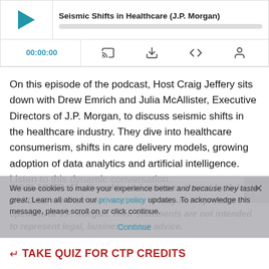[Figure (screenshot): Podcast media player widget showing play button, episode title 'Seismic Shifts in Healthcare (J.P. Morgan)', timestamp 00:00:00, and controls for cast, download, embed, and sharing.]
On this episode of the podcast, Host Craig Jeffery sits down with Drew Emrich and Julia McAllister, Executive Directors of J.P. Morgan, to discuss seismic shifts in the healthcare industry. They dive into healthcare consumerism, shifts in care delivery models, growing adoption of data analytics and artificial intelligence. Listen to this dynamic conversation.
DISCLAIMER: The thoughts and opinions shared by Julia and Drew are their own, and may or may not represent the opinions of J.P. Morgan. Their statements are not intended to represent legal, business or tax advice.
We use cookies to make your experience better and because they taste great. Learn all about our privacy policy updates. To acknowledge this message, please scroll on or click continue.
Continue
TAKE QUIZ FOR CTP CREDITS